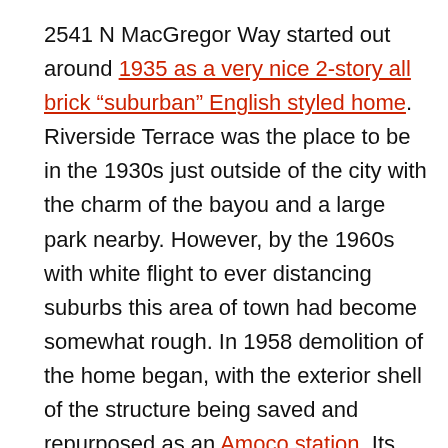2541 N MacGregor Way started out around 1935 as a very nice 2-story all brick “suburban” English styled home. Riverside Terrace was the place to be in the 1930s just outside of the city with the charm of the bayou and a large park nearby. However, by the 1960s with white flight to ever distancing suburbs this area of town had become somewhat rough. In 1958 demolition of the home began, with the exterior shell of the structure being saved and repurposed as an Amoco station. Its stint as a gas station would last until at least 1970 with it flipping to an Enco by 1969. By the 1980s the building was serving as a club, which it continued to do until around 2015. With the 2019 grand opening of an H-E-B across the street, and continually increasing property values in the area over the last few years it’s unclear so far to what we’ll see at this property, but the luxury